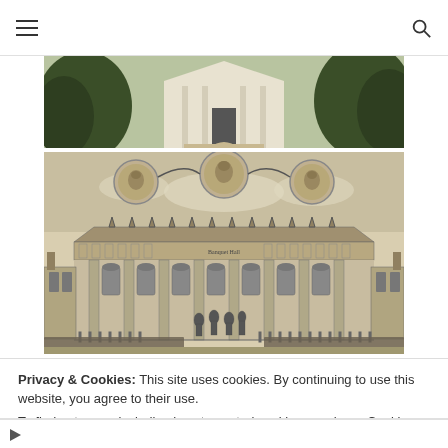Navigation bar with hamburger menu and search icon
[Figure (photo): Photograph of a white colonial-style building facade with green trees and garden path]
[Figure (illustration): Historical engraving of a Banqueting Hall with portrait medallions above, showing a large classical building with columns, crowds of people outside, and decorative elements]
Privacy & Cookies: This site uses cookies. By continuing to use this website, you agree to their use.
To find out more, including how to control cookies, see here: Cookie
G-Shock Men's Analog-Digital Connected Mudmaster G
sponsored by: Macys.com
380.00 USD